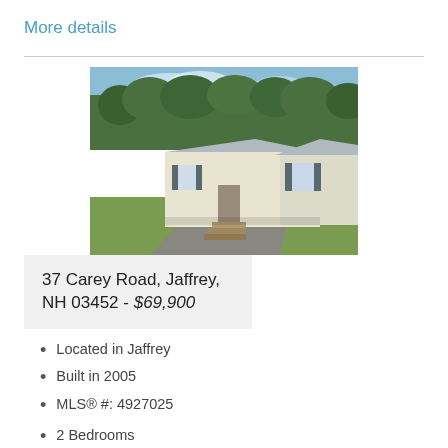More details
[Figure (photo): Exterior photo of a white single-wide mobile home with grey shutters, wooden front steps, green lawn, driveway, and trees in the background.]
37 Carey Road, Jaffrey, NH 03452 - $69,900
Located in Jaffrey
Built in 2005
MLS® #: 4927025
2 Bedrooms
1 Bath